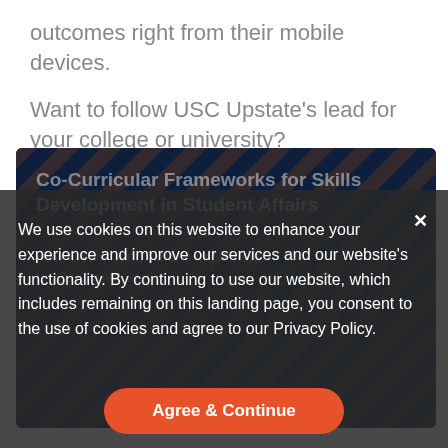outcomes right from their mobile devices.
Want to follow USC Upstate's lead for your college or university?
[Figure (screenshot): A dark navy card showing partially visible text 'Co-Curricular Frameworks for Skills Development in Student Affairs' with diagonal stripe pattern overlay, partially obscured by cookie consent dialog]
We use cookies on this website to enhance your experience and improve our services and our website's functionality. By continuing to use our website, which includes remaining on this landing page, you consent to the use of cookies and agree to our Privacy Policy.
Agree & Continue